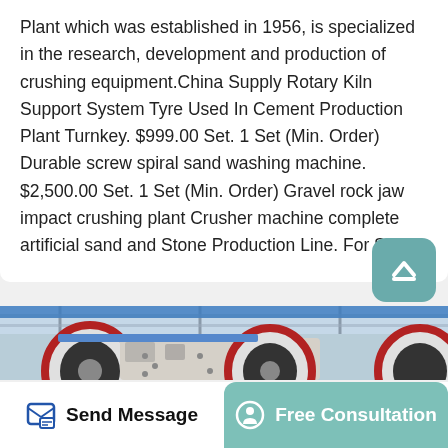Plant which was established in 1956, is specialized in the research, development and production of crushing equipment.China Supply Rotary Kiln Support System Tyre Used In Cement Production Plant Turnkey. $999.00 Set. 1 Set (Min. Order) Durable screw spiral sand washing machine. $2,500.00 Set. 1 Set (Min. Order) Gravel rock jaw impact crushing plant Crusher machine complete artificial sand and Stone Production Line. For Stone.
[Figure (photo): Industrial jaw crusher machine with large red and black flywheels inside a factory/warehouse building with steel structure roof]
Send Message
Free Consultation